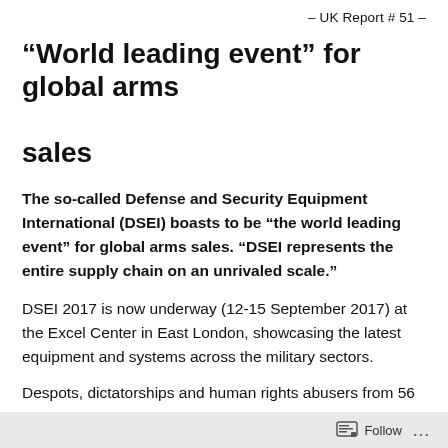– UK Report # 51 –
“World leading event” for global arms sales
The so-called Defense and Security Equipment International (DSEI) boasts to be “the world leading event” for global arms sales. “DSEI represents the entire supply chain on an unrivaled scale.”
DSEI 2017 is now underway (12-15 September 2017) at the Excel Center in East London, showcasing the latest equipment and systems across the military sectors.
Despots, dictatorships and human rights abusers from 56
Follow